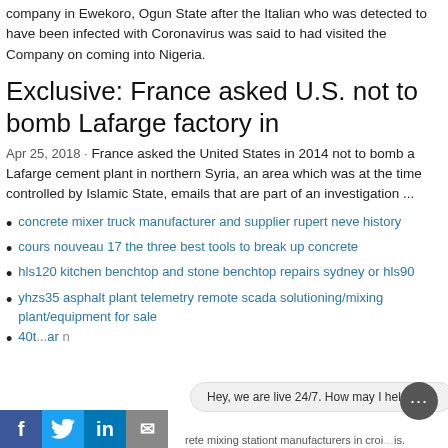company in Ewekoro, Ogun State after the Italian who was detected to have been infected with Coronavirus was said to had visited the Company on coming into Nigeria.
Exclusive: France asked U.S. not to bomb Lafarge factory in
Apr 25, 2018 · France asked the United States in 2014 not to bomb a Lafarge cement plant in northern Syria, an area which was at the time controlled by Islamic State, emails that are part of an investigation ...
concrete mixer truck manufacturer and supplier rupert neve history
cours nouveau 17 the three best tools to break up concrete
hls120 kitchen benchtop and stone benchtop repairs sydney or hls90
yhzs35 asphalt plant telemetry remote scada solutioning/mixing plant/equipment for sale
40t ... concrete mixing stationt manufacturers in croi...is.